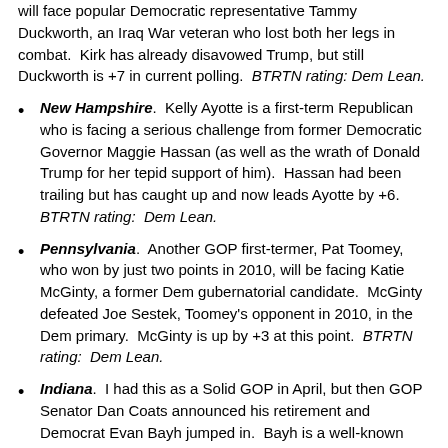will face popular Democratic representative Tammy Duckworth, an Iraq War veteran who lost both her legs in combat.  Kirk has already disavowed Trump, but still Duckworth is +7 in current polling.  BTRTN rating: Dem Lean.
New Hampshire.  Kelly Ayotte is a first-term Republican who is facing a serious challenge from former Democratic Governor Maggie Hassan (as well as the wrath of Donald Trump for her tepid support of him).  Hassan had been trailing but has caught up and now leads Ayotte by +6.  BTRTN rating:  Dem Lean.
Pennsylvania.  Another GOP first-termer, Pat Toomey, who won by just two points in 2010, will be facing Katie McGinty, a former Dem gubernatorial candidate.  McGinty defeated Joe Sestek, Toomey's opponent in 2010, in the Dem primary.  McGinty is up by +3 at this point.  BTRTN rating:  Dem Lean.
Indiana.  I had this as a Solid GOP in April, but then GOP Senator Dan Coats announced his retirement and Democrat Evan Bayh jumped in.  Bayh is a well-known